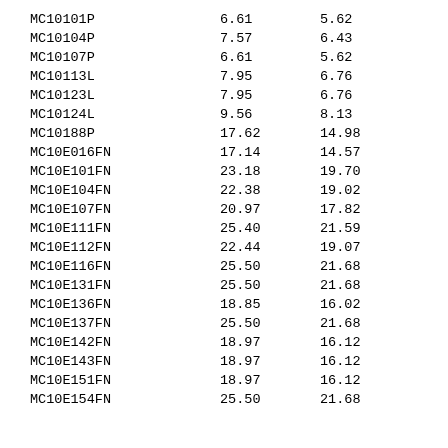| MC10101P | 6.61 | 5.62 |
| MC10104P | 7.57 | 6.43 |
| MC10107P | 6.61 | 5.62 |
| MC10113L | 7.95 | 6.76 |
| MC10123L | 7.95 | 6.76 |
| MC10124L | 9.56 | 8.13 |
| MC10188P | 17.62 | 14.98 |
| MC10E016FN | 17.14 | 14.57 |
| MC10E101FN | 23.18 | 19.70 |
| MC10E104FN | 22.38 | 19.02 |
| MC10E107FN | 20.97 | 17.82 |
| MC10E111FN | 25.40 | 21.59 |
| MC10E112FN | 22.44 | 19.07 |
| MC10E116FN | 25.50 | 21.68 |
| MC10E131FN | 25.50 | 21.68 |
| MC10E136FN | 18.85 | 16.02 |
| MC10E137FN | 25.50 | 21.68 |
| MC10E142FN | 18.97 | 16.12 |
| MC10E143FN | 18.97 | 16.12 |
| MC10E151FN | 18.97 | 16.12 |
| MC10E154FN | 25.50 | 21.68 |